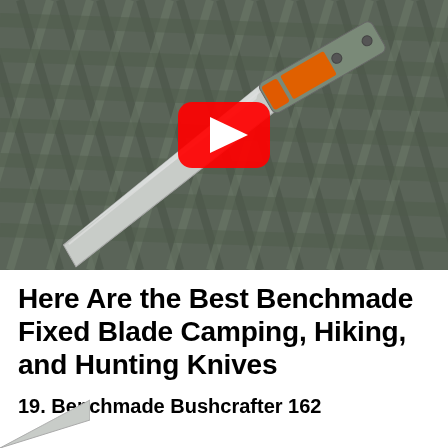[Figure (photo): A folding knife with gray-green handle and orange accents open on a wicker/rattan surface background, with a YouTube play button overlay in the center]
Here Are the Best Benchmade Fixed Blade Camping, Hiking, and Hunting Knives
19. Benchmade Bushcrafter 162
[Figure (photo): Partial view of a knife blade, bottom-left corner, cropped]